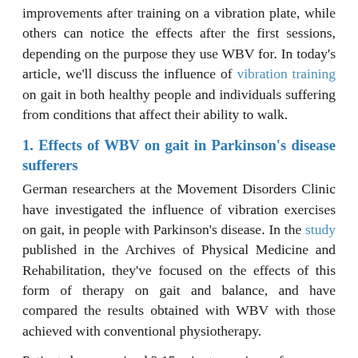improvements after training on a vibration plate, while others can notice the effects after the first sessions, depending on the purpose they use WBV for. In today's article, we'll discuss the influence of vibration training on gait in both healthy people and individuals suffering from conditions that affect their ability to walk.
1. Effects of WBV on gait in Parkinson's disease sufferers
German researchers at the Movement Disorders Clinic have investigated the influence of vibration exercises on gait, in people with Parkinson's disease. In the study published in the Archives of Physical Medicine and Rehabilitation, they've focused on the effects of this form of therapy on gait and balance, and have compared the results obtained with WBV with those achieved with conventional physiotherapy.
Patients have received 2 15-minute sessions of